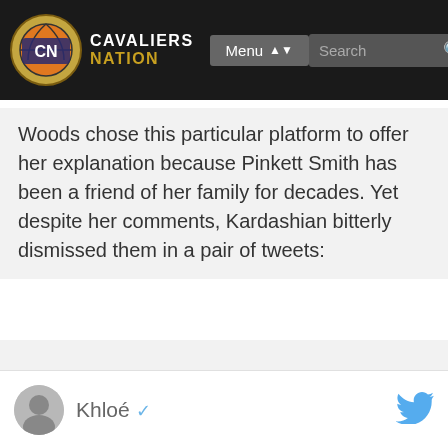CAVALIERS NATION — Menu — Search
Woods chose this particular platform to offer her explanation because Pinkett Smith has been a friend of her family for decades. Yet despite her comments, Kardashian bitterly dismissed them in a pair of tweets:
Khloé